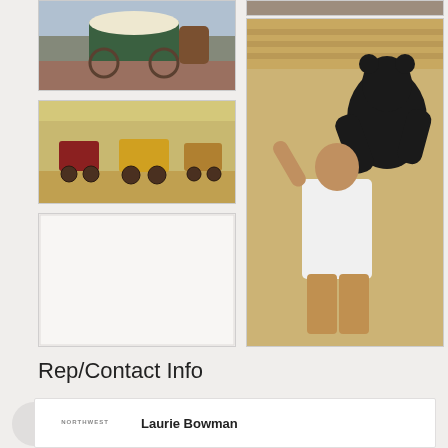[Figure (photo): Photo of a covered wagon exhibit outdoors with horse sculpture]
[Figure (photo): Photo of antique carriages and wagons in a museum interior with warm lighting]
[Figure (photo): Empty white/light gray placeholder photo box]
[Figure (photo): Partially visible photo at top right, faded]
[Figure (photo): Large photo of a man in white shirt pretending to be attacked by a stuffed black bear exhibit in a museum]
Rep/Contact Info
[Figure (photo): Contact card with circular avatar placeholder, NORTHWEST logo text, and name Laurie Bowman]